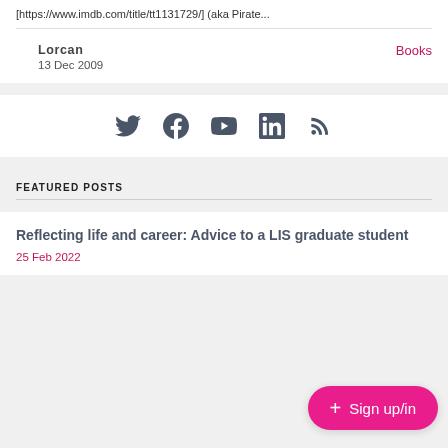[https://www.imdb.com/title/tt1131729/] (aka Pirate...
Lorcan
13 Dec 2009
Books
[Figure (infographic): Social media icons: Twitter, Facebook, YouTube, LinkedIn, RSS]
FEATURED POSTS
Reflecting life and career: Advice to a LIS graduate student
25 Feb 2022